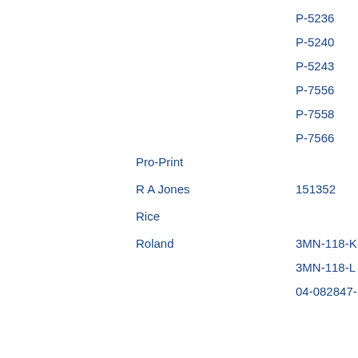P-5236
P-5240
P-5243
P-7556
P-7558
P-7566
Pro-Print
R A Jones	151352
Rice
Roland	3MN-118-K
3MN-118-L
04-082847-